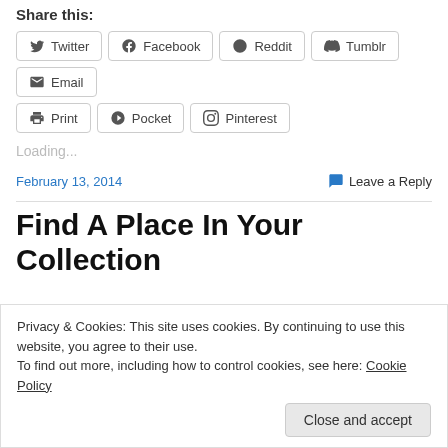Share this:
Twitter
Facebook
Reddit
Tumblr
Email
Print
Pocket
Pinterest
Loading...
February 13, 2014
Leave a Reply
Find A Place In Your Collection
Privacy & Cookies: This site uses cookies. By continuing to use this website, you agree to their use. To find out more, including how to control cookies, see here: Cookie Policy
Close and accept